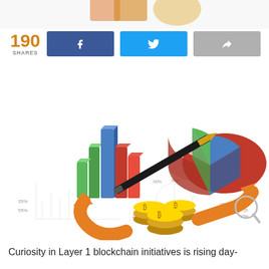[Figure (illustration): Partial view of colorful 3D objects at top (cropped from previous page)]
190 SHARES
[Figure (illustration): 3D financial illustration showing bar charts (green, blue, red), a pie chart (green, blue, red), a black pen, Bitcoin gold coins, orange arrows, and financial chart sketches on paper]
Curiosity in Layer 1 blockchain initiatives is rising day-